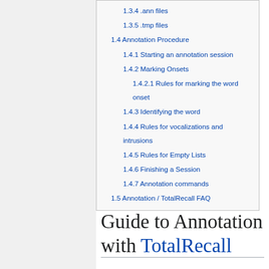1.3.4 .ann files
1.3.5 .tmp files
1.4 Annotation Procedure
1.4.1 Starting an annotation session
1.4.2 Marking Onsets
1.4.2.1 Rules for marking the word onset
1.4.3 Identifying the word
1.4.4 Rules for vocalizations and intrusions
1.4.5 Rules for Empty Lists
1.4.6 Finishing a Session
1.4.7 Annotation commands
1.5 Annotation / TotalRecall FAQ
Guide to Annotation with TotalRecall